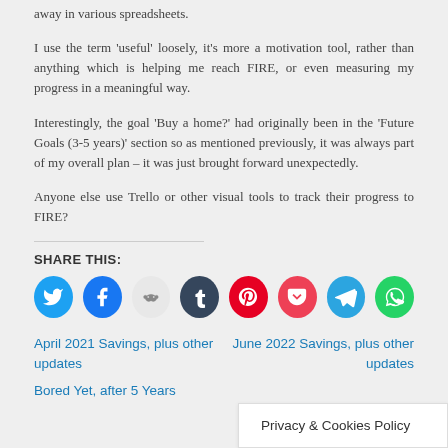away in various spreadsheets.
I use the term ‘useful’ loosely, it’s more a motivation tool, rather than anything which is helping me reach FIRE, or even measuring my progress in a meaningful way.
Interestingly, the goal ‘Buy a home?’ had originally been in the ‘Future Goals (3-5 years)’ section so as mentioned previously, it was always part of my overall plan – it was just brought forward unexpectedly.
Anyone else use Trello or other visual tools to track their progress to FIRE?
SHARE THIS:
[Figure (infographic): Row of social media share icons: Twitter (blue), Facebook (blue), Reddit (light grey), Tumblr (dark navy), Pinterest (red), Pocket (red), Telegram (blue), WhatsApp (green)]
April 2021 Savings, plus other updates
June 2022 Savings, plus other updates
Bored Yet, after 5 Years
Privacy & Cookies Policy